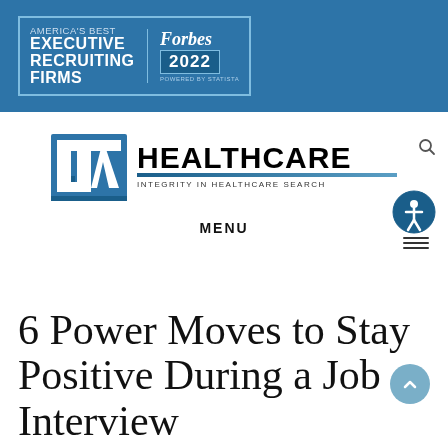[Figure (logo): Forbes 2022 America's Best Executive Recruiting Firms badge on blue banner background]
[Figure (logo): TAL Healthcare logo with tagline 'Integrity in Healthcare Search']
MENU
6 Power Moves to Stay Positive During a Job Interview